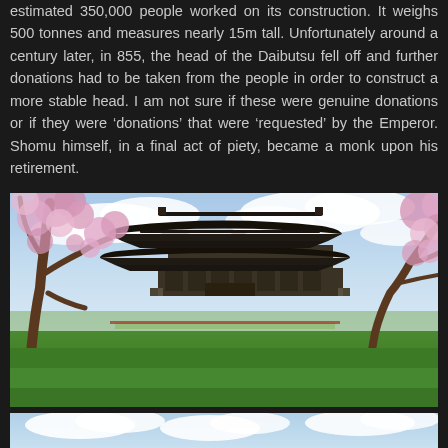estimated 350,000 people worked on its construction. It weighs 500 tonnes and measures nearly 15m tall. Unfortunately around a century later, in 855, the head of the Daibutsu fell off and further donations had to be taken from the people in order to construct a more stable head. I am not sure if these were genuine donations or if they were ‘donations’ that were ‘requested’ by the Emperor. Shomu himself, in a final act of piety, became a monk upon his retirement.
[Figure (photo): A Japanese temple (Todai-ji) photographed from a wide lawn with cherry blossom trees in the foreground with pink flowers, a green grassy field, and a partly cloudy sky. The large traditional wooden structure with multi-tiered dark roofs is visible in the mid-ground.]
[Figure (photo): Partial view of another photo showing a partly cloudy sky, appearing at the very bottom of the page.]